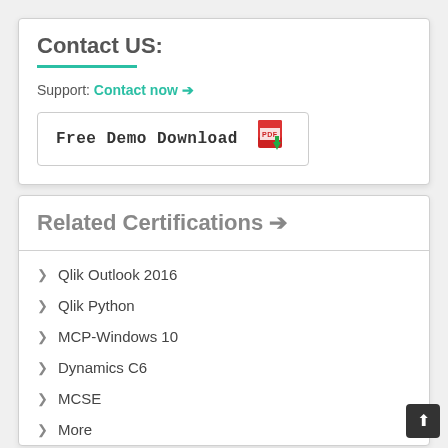Contact US:
Support: Contact now ➔
[Figure (other): Free Demo Download button with PDF icon and green download arrow]
Related Certifications ➔
Qlik Outlook 2016
Qlik Python
MCP-Windows 10
Dynamics C6
MCSE
More